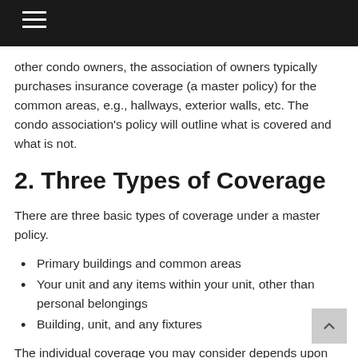other condo owners, the association of owners typically purchases insurance coverage (a master policy) for the common areas, e.g., hallways, exterior walls, etc. The condo association's policy will outline what is covered and what is not.
2. Three Types of Coverage
There are three basic types of coverage under a master policy.
Primary buildings and common areas
Your unit and any items within your unit, other than personal belongings
Building, unit, and any fixtures
The individual coverage you may consider depends upon the scope of coverage of the master policy. Start by